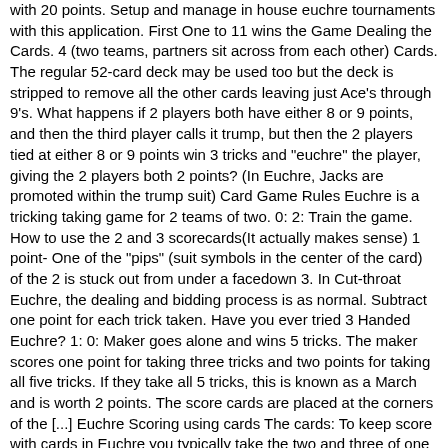with 20 points. Setup and manage in house euchre tournaments with this application. First One to 11 wins the Game Dealing the Cards. 4 (two teams, partners sit across from each other) Cards. The regular 52-card deck may be used too but the deck is stripped to remove all the other cards leaving just Ace's through 9's. What happens if 2 players both have either 8 or 9 points, and then the third player calls it trump, but then the 2 players tied at either 8 or 9 points win 3 tricks and "euchre" the player, giving the 2 players both 2 points? (In Euchre, Jacks are promoted within the trump suit) Card Game Rules Euchre is a tricking taking game for 2 teams of two. 0: 2: Train the game. How to use the 2 and 3 scorecards(It actually makes sense) 1 point- One of the "pips" (suit symbols in the center of the card) of the 2 is stuck out from under a facedown 3. In Cut-throat Euchre, the dealing and bidding process is as normal. Subtract one point for each trick taken. Have you ever tried 3 Handed Euchre? 1: 0: Maker goes alone and wins 5 tricks. The maker scores one point for taking three tricks and two points for taking all five tricks. If they take all 5 tricks, this is known as a March and is worth 2 points. The score cards are placed at the corners of the [...] Euchre Scoring using cards The cards: To keep score with cards in Euchre you typically take the two and three of one suit. VegasEuchre.com - see 'Situation 3' and see 'In Summation.' Ghost Hand Euchre is a great alternative for a group of three. Here are some scoring scenarios: Win the bid and gets at least the number of tricks bid. Next Last. (These do exist) Or you can use the two-and-three scorecards. 4 is a perspective view of the peg on an enlarged scale for use with the euchre score board of FIGS. Further, the device includes a storage compartment, and an indication of what suit is trump. OhioEuchre.com - 'NEVER lead